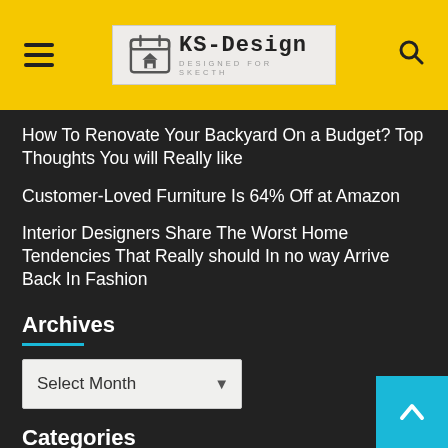KS-Design — DESIGNED FOR SKECTH (navigation header with hamburger menu and search icon)
How To Renovate Your Backyard On a Budget? Top Thoughts You will Really like
Customer-Loved Furniture Is 64% Off at Amazon
Interior Designers Share The Worst Home Tendencies That Really should In no way Arrive Back In Fashion
Archives
Select Month
Categories
Select Category